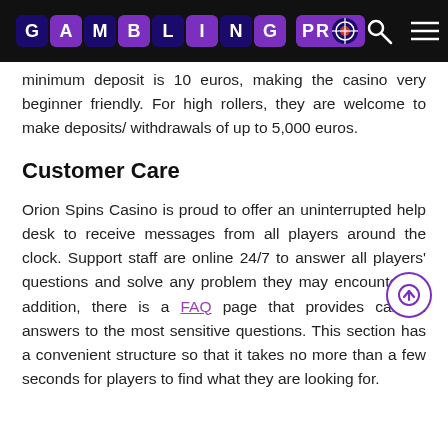GAMBLING PRO
minimum deposit is 10 euros, making the casino very beginner friendly. For high rollers, they are welcome to make deposits/ withdrawals of up to 5,000 euros.
Customer Care
Orion Spins Casino is proud to offer an uninterrupted help desk to receive messages from all players around the clock. Support staff are online 24/7 to answer all players' questions and solve any problem they may encounter. In addition, there is a FAQ page that provides canned answers to the most sensitive questions. This section has a convenient structure so that it takes no more than a few seconds for players to find what they are looking for.